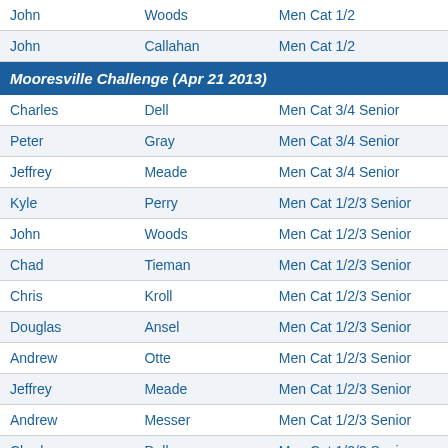| First | Last | Category |
| --- | --- | --- |
| John | Woods | Men Cat 1/2 |
| John | Callahan | Men Cat 1/2 |
Mooresville Challenge (Apr 21 2013)
| First | Last | Category |
| --- | --- | --- |
| Charles | Dell | Men Cat 3/4 Senior |
| Peter | Gray | Men Cat 3/4 Senior |
| Jeffrey | Meade | Men Cat 3/4 Senior |
| Kyle | Perry | Men Cat 1/2/3 Senior |
| John | Woods | Men Cat 1/2/3 Senior |
| Chad | Tieman | Men Cat 1/2/3 Senior |
| Chris | Kroll | Men Cat 1/2/3 Senior |
| Douglas | Ansel | Men Cat 1/2/3 Senior |
| Andrew | Otte | Men Cat 1/2/3 Senior |
| Jeffrey | Meade | Men Cat 1/2/3 Senior |
| Andrew | Messer | Men Cat 1/2/3 Senior |
| Charles | Dell | Men Cat 1/2/3 Senior |
JWD Ceraland Challenge (Apr 20 2013)
| First | Last | Category |
| --- | --- | --- |
| Blake | Voges | Men Cat 3 Senior |